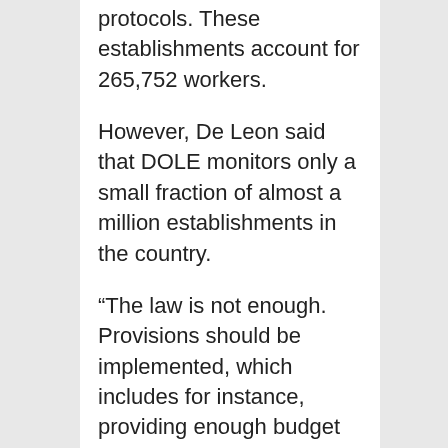protocols. These establishments account for 265,752 workers.
However, De Leon said that DOLE monitors only a small fraction of almost a million establishments in the country.
“The law is not enough. Provisions should be implemented, which includes for instance, providing enough budget to hire more labor inspectors, De Leon said in Filipino.